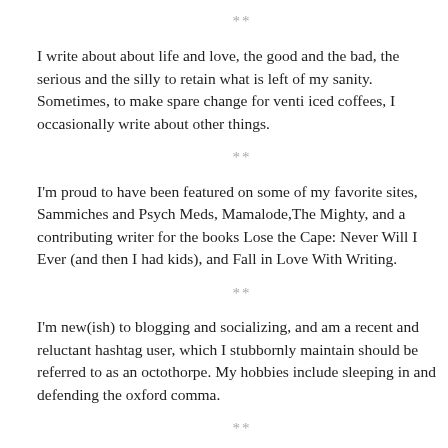names, most notably, Mommy. Proud wife and mother four, I'm an Autism Warrior Momma and advocate for those with special needs and their families.
**
I write about about life and love, the good and the bad, the serious and the silly to retain what is left of my sanity. Sometimes, to make spare change for venti iced coffees, I occasionally write about other things.
**
I'm proud to have been featured on some of my favorite sites, Sammiches and Psych Meds, Mamalode,The Mighty, and a contributing writer for the books Lose the Cape: Never Will I Ever (and then I had kids), and Fall in Love With Writing.
**
I'm new(ish) to blogging and socializing, and am a recent and reluctant hashtag user, which I stubbornly maintain should be referred to as an octothorpe. My hobbies include sleeping in and defending the oxford comma.
**